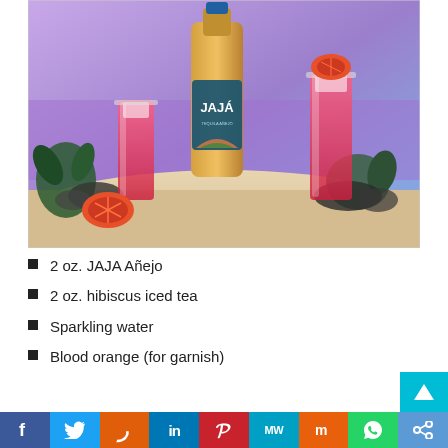[Figure (photo): Product photo showing two tall glasses filled with red/pink hibiscus cocktails with ice, a bottle of JAJA Añejo tequila in the center, surrounded by rocks, agave plants, cut blood oranges, on a sandy surface with purple-blue gradient background.]
2 oz. JAJA Añejo
2 oz. hibiscus iced tea
Sparkling water
Blood orange (for garnish)